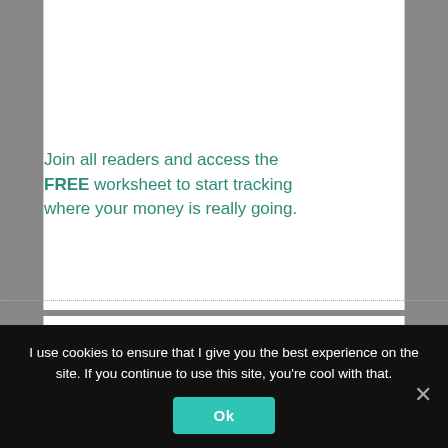Join all readers and access the FREE worksheet to start tracking where your money is really going.
First N...
I use cookies to ensure that I give you the best experience on the site. If you continue to use this site, you're cool with that.